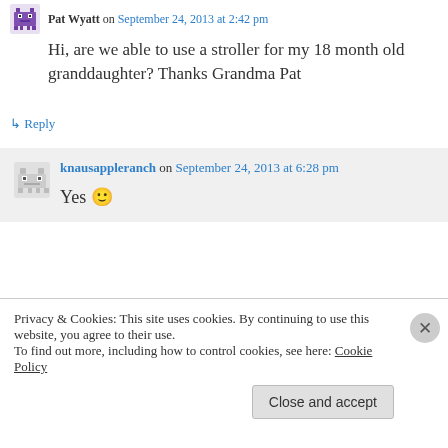Pat Wyatt on September 24, 2013 at 2:42 pm
Hi, are we able to use a stroller for my 18 month old granddaughter? Thanks Grandma Pat
↳ Reply
knausappleranch on September 24, 2013 at 6:28 pm
Yes 🙂
Privacy & Cookies: This site uses cookies. By continuing to use this website, you agree to their use.
To find out more, including how to control cookies, see here: Cookie Policy
Close and accept